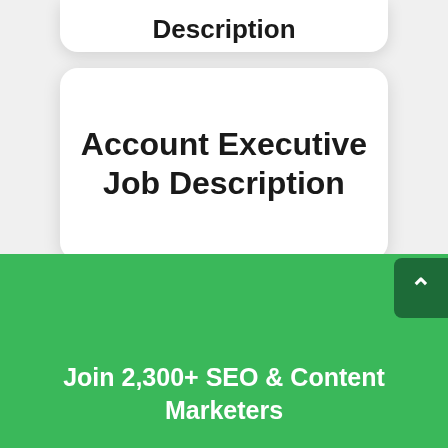Description
Account Executive Job Description
Join 2,300+ SEO & Content Marketers